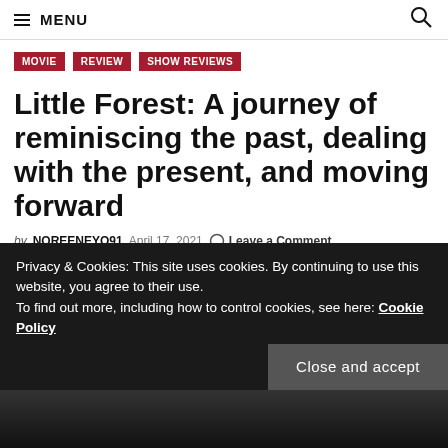MENU
MOVIE
REVIEW
SHOW REVIEWS
Little Forest: A journey of reminiscing the past, dealing with the present, and moving forward
by NOREENEYO91  April 17, 2021  Leave a Comment
Privacy & Cookies: This site uses cookies. By continuing to use this website, you agree to their use.
To find out more, including how to control cookies, see here: Cookie Policy
[Figure (photo): Bottom strip showing partial photo of people]